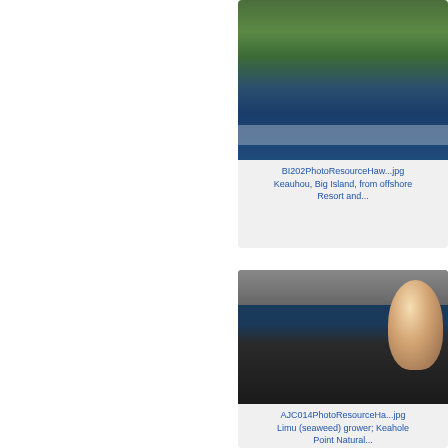[Figure (photo): Coastal landscape photo showing Keauhou, Big Island from offshore, with green hills, palm trees, and deep blue ocean water]
BI202PhotoResourceHaw...jpg
Keauhou, Big Island, from offshore Resort and...
[Figure (photo): Aquaculture facility photo showing large circular tanks with dark water and seaweed, with a smiling man in white shirt leaning over the tank]
AJC014PhotoResourceHa...jpg
Limu (seaweed) grower; Keahole Point Natural...